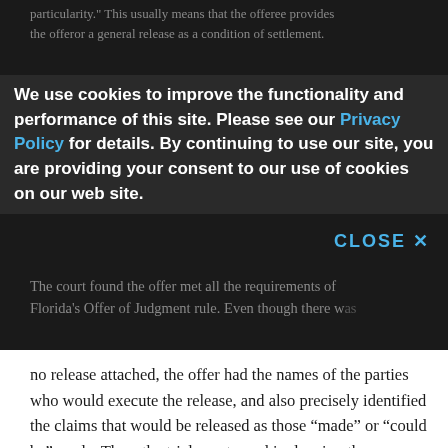particularity." This usually means that the offeree provides the offeror a general release as a condition of settlement.
We use cookies to improve the functionality and performance of this site. Please see our Privacy Policy for details. By continuing to use our site, you are providing your consent to our use of cookies on our web site.
CLOSE ✕
The court found the offer met all the requirements of Florida's Offer of Judgment rule. Even though there was no release attached, the offer had the names of the parties who would execute the release, and also precisely identified the claims that would be released as those “made” or “could be” made. Thus, the trial court erred in denying the defendant’s motion for fees because there was no release.
Russell Post Properties, Inc. v. Leaders Bank, 40 Fla. Law Weekly D619 (Fla. 3rd DCA March 11, 2015)
For more information, contact your regular Hinshaw